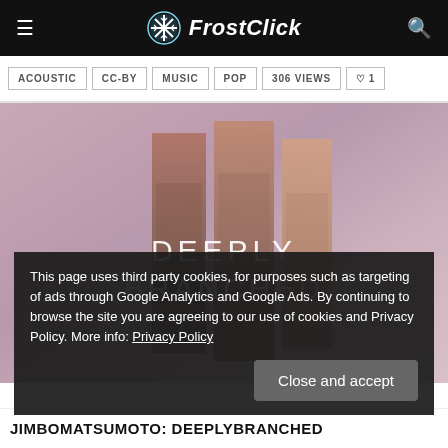FrostClick
ACOUSTIC
CC-BY
MUSIC
POP
306 VIEWS
♡ 1
[Figure (illustration): Album art for 'Deeply Branched' by JimboMatsumoto — pinkish-purple background with tall vertical rectangular bar shapes in warm brown/red tones, with text 'DEEPLY BRANCHED' overlaid in white letters]
This page uses third party cookies, for purposes such as targeting of ads through Google Analytics and Google Ads. By continuing to browse the site you are agreeing to our use of cookies and Privacy Policy. More info: Privacy Policy
JIMBOMATSUMOTO: DEEPLYBRANCHED